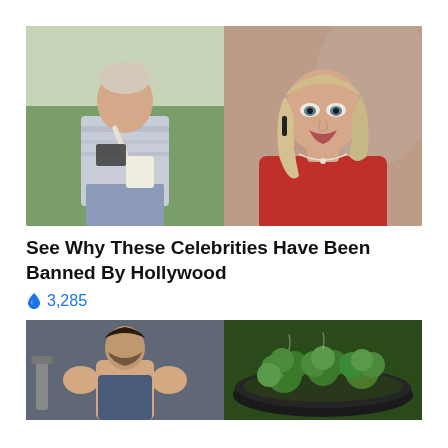[Figure (photo): Split image: left side shows a middle-aged woman with short light hair wearing a plaid/striped sweater and jeans, holding a phone and tote bag outdoors on grass; right side shows a younger blonde woman in a red top with a necklace, movie-still style portrait.]
See Why These Celebrities Have Been Banned By Hollywood
🔥 3,285
[Figure (photo): Split image: left side shows a man flexing his bicep muscles in a gym setting; right side shows broccoli cooking in a pan.]